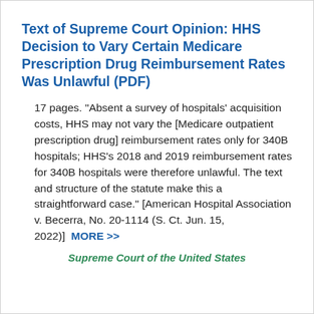Text of Supreme Court Opinion: HHS Decision to Vary Certain Medicare Prescription Drug Reimbursement Rates Was Unlawful (PDF)
17 pages. "Absent a survey of hospitals' acquisition costs, HHS may not vary the [Medicare outpatient prescription drug] reimbursement rates only for 340B hospitals; HHS's 2018 and 2019 reimbursement rates for 340B hospitals were therefore unlawful. The text and structure of the statute make this a straightforward case." [American Hospital Association v. Becerra, No. 20-1114 (S. Ct. Jun. 15, 2022)]  MORE >>
Supreme Court of the United States